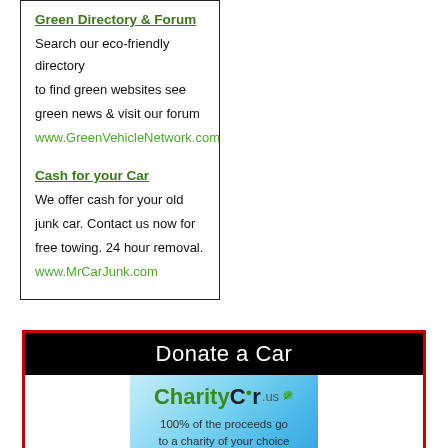Green Directory & Forum
Search our eco-friendly directory to find green websites see green news & visit our forum www.GreenVehicleNetwork.com
Cash for your Car
We offer cash for your old junk car. Contact us now for free towing. 24 hour removal. www.MrCarJunk.com
Donate a Car
[Figure (logo): CharityCar.us logo on a light blue gradient background with text: 100% of the proceeds go to a charity of your choice. All vehicles recycled by our...]